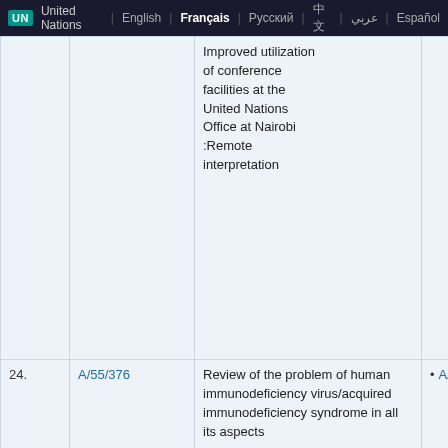UN | United Nations | English | Français | Русский | 中文 | عربي | Español
|  | Document | Title | References |
| --- | --- | --- | --- |
|  |  | Improved utilization of conference facilities at the United Nations Office at Nairobi :Remote interpretation | A/C.5... |
| 24. | A/55/376 | Review of the problem of human immunodeficiency virus/acquired immunodeficiency syndrome in all its aspects | A/C.5... |
| 25. | A/54/7/Add.14 | Review of the resource requirements for the High-Level International Intergovernmental Event on Financing | A/C.5...
A/C.5... |